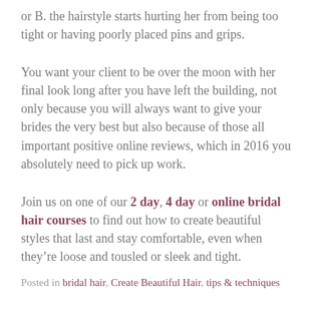or B. the hairstyle starts hurting her from being too tight or having poorly placed pins and grips.
You want your client to be over the moon with her final look long after you have left the building, not only because you will always want to give your brides the very best but also because of those all important positive online reviews, which in 2016 you absolutely need to pick up work.
Join us on one of our 2 day, 4 day or online bridal hair courses to find out how to create beautiful styles that last and stay comfortable, even when they’re loose and tousled or sleek and tight.
Posted in bridal hair, Create Beautiful Hair, tips & techniques